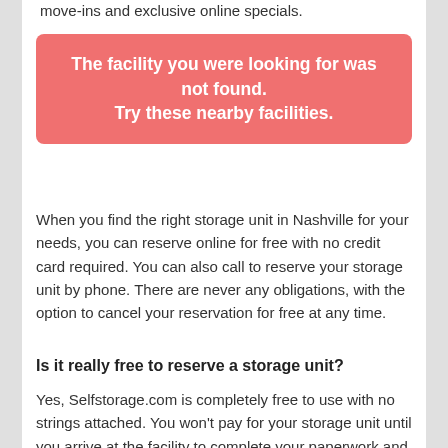move-ins and exclusive online specials.
The facility you were looking for was not found. Try these nearby facilities.
When you find the right storage unit in Nashville for your needs, you can reserve online for free with no credit card required. You can also call to reserve your storage unit by phone. There are never any obligations, with the option to cancel your reservation for free at any time.
Is it really free to reserve a storage unit?
Yes, Selfstorage.com is completely free to use with no strings attached. You won’t pay for your storage unit until you arrive at the facility to complete your paperwork and move in.